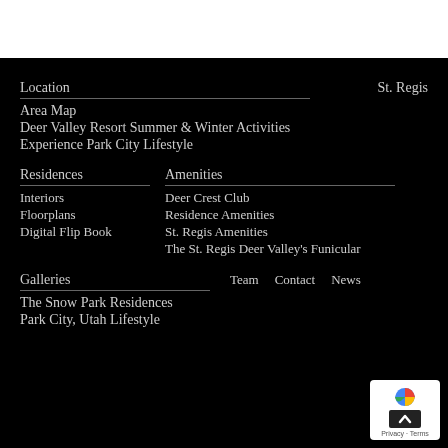Location
St. Regis
Area Map
Deer Valley Resort Summer & Winter Activities
Experience Park City Lifestyle
Residences
Amenities
Interiors
Deer Crest Club
Floorplans
Residence Amenities
Digital Flip Book
St. Regis Amenities
The St. Regis Deer Valley's Funicular
Galleries
Team
Contact
News
The Snow Park Residences
Park City, Utah Lifestyle